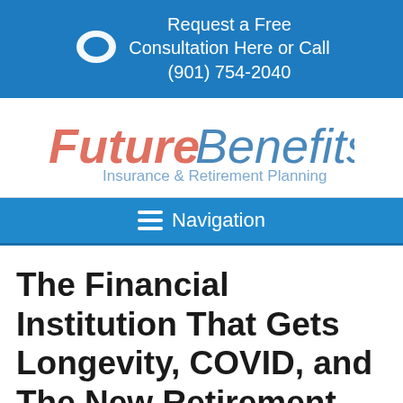Request a Free Consultation Here or Call (901) 754-2040
[Figure (logo): FutureBenefits Insurance & Retirement Planning logo with 'Future' in coral/red italic and 'Benefits' in blue italic, subtitle in light blue]
Navigation
The Financial Institution That Gets Longevity, COVID, and The New Retirement